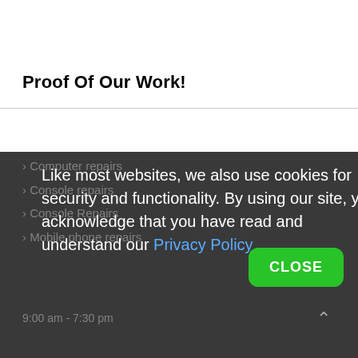Proof Of Our Work!
Computer repairs
Console repairs
Console Repairs
Mobile phone repairs
Like most websites, we also use cookies for security and functionality. By using our site, you acknowledge that you have read and understand our Privacy Policy
9:00 am - 7:30 pm